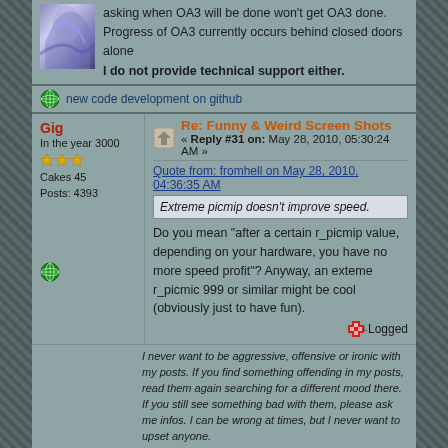asking when OA3 will be done won't get OA3 done. Progress of OA3 currently occurs behind closed doors alone
I do not provide technical support either.
new code development on github
Gig
In the year 3000
Cakes 45
Posts: 4393
Re: Funny & Weird Screen Shots
« Reply #31 on: May 28, 2010, 05:30:24 AM »
Quote from: fromhell on May 28, 2010, 04:36:35 AM
Extreme picmip doesn't improve speed.
Do you mean "after a certain r_picmip value, depending on your hardware, you have no more speed profit"? Anyway, an exteme r_picmic 999 or similar might be cool (obviously just to have fun).
Logged
I never want to be aggressive, offensive or ironic with my posts. If you find something offending in my posts, read them again searching for a different mood there. If you still see something bad with them, please ask me infos. I can be wrong at times, but I never want to upset anyone.
chaoticso
Member
Cakes 18
Re: Funny & Weird Screen Shots
« Reply #32 on: May 28, 2010, 05:38:57 AM »
Too bad it only goes up to 10